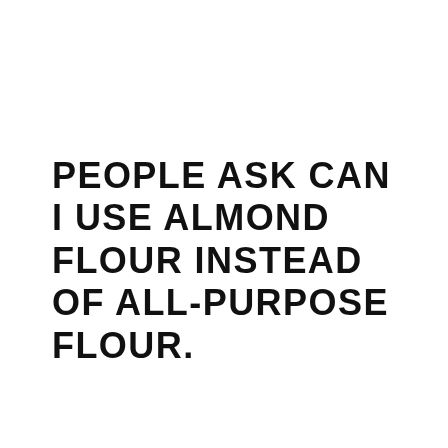PEOPLE ASK CAN I USE ALMOND FLOUR INSTEAD OF ALL-PURPOSE FLOUR.